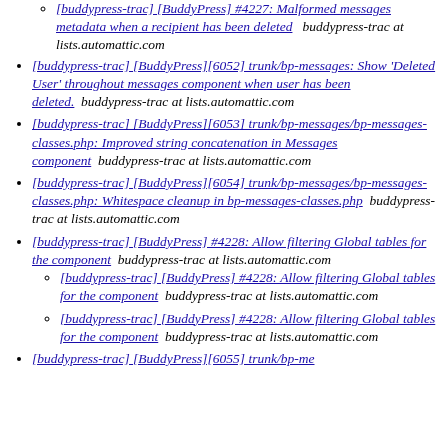[buddypress-trac] [BuddyPress] #4227: Malformed messages metadata when a recipient has been deleted  buddypress-trac at lists.automattic.com
[buddypress-trac] [BuddyPress][6052] trunk/bp-messages: Show 'Deleted User' throughout messages component when user has been deleted.  buddypress-trac at lists.automattic.com
[buddypress-trac] [BuddyPress][6053] trunk/bp-messages/bp-messages-classes.php: Improved string concatenation in Messages component  buddypress-trac at lists.automattic.com
[buddypress-trac] [BuddyPress][6054] trunk/bp-messages/bp-messages-classes.php: Whitespace cleanup in bp-messages-classes.php  buddypress-trac at lists.automattic.com
[buddypress-trac] [BuddyPress] #4228: Allow filtering Global tables for the component  buddypress-trac at lists.automattic.com
[buddypress-trac] [BuddyPress] #4228: Allow filtering Global tables for the component  buddypress-trac at lists.automattic.com
[buddypress-trac] [BuddyPress] #4228: Allow filtering Global tables for the component  buddypress-trac at lists.automattic.com